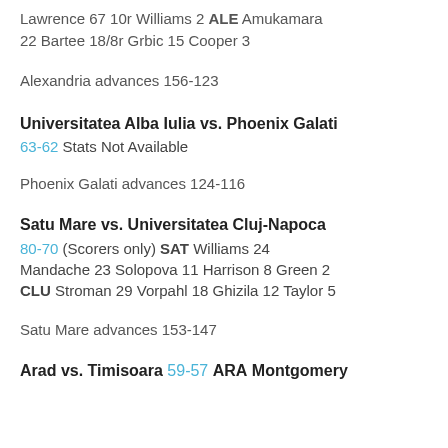Lawrence 67 10r Williams 2 ALE Amukamara 22 Bartee 18/8r Grbic 15 Cooper 3
Alexandria advances 156-123
Universitatea Alba Iulia vs. Phoenix Galati
63-62 Stats Not Available
Phoenix Galati advances 124-116
Satu Mare vs. Universitatea Cluj-Napoca
80-70 (Scorers only) SAT Williams 24 Mandache 23 Solopova 11 Harrison 8 Green 2 CLU Stroman 29 Vorpahl 18 Ghizila 12 Taylor 5
Satu Mare advances 153-147
Arad vs. Timisoara 59-57 ARA Montgomery